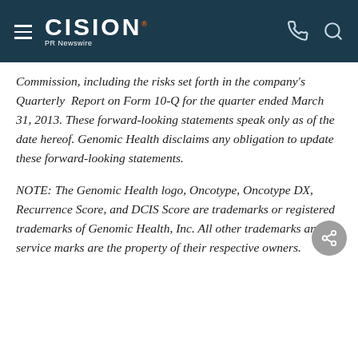CISION PR Newswire
Commission, including the risks set forth in the company's Quarterly Report on Form 10-Q for the quarter ended March 31, 2013. These forward-looking statements speak only as of the date hereof. Genomic Health disclaims any obligation to update these forward-looking statements.
NOTE: The Genomic Health logo, Oncotype, Oncotype DX, Recurrence Score, and DCIS Score are trademarks or registered trademarks of Genomic Health, Inc. All other trademarks and service marks are the property of their respective owners.